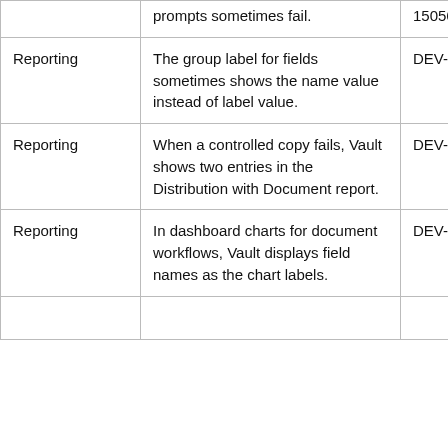|  | prompts sometimes fail. | 150560 |
| Reporting | The group label for fields sometimes shows the name value instead of label value. | DEV-150975 |
| Reporting | When a controlled copy fails, Vault shows two entries in the Distribution with Document report. | DEV-151338 |
| Reporting | In dashboard charts for document workflows, Vault displays field names as the chart labels. | DEV-154147 |
|  |  |  |